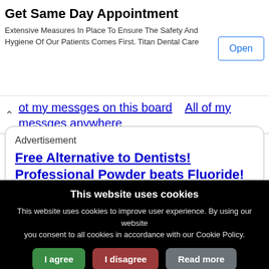Get Same Day Appointment
Extensive Measures In Place To Ensure The Safety And Hygiene Of Our Patients Comes First. Titan Dental Care
ot of my messges on this board   All of my messges anywhere
Advertisement
Free Alternative to Dentists!
Professional Powder beats Fluoride!
This website uses cookies
This website uses cookies to improve user experience. By using our website you consent to all cookies in accordance with our Cookie Policy.
I agree   I disagree   Read more